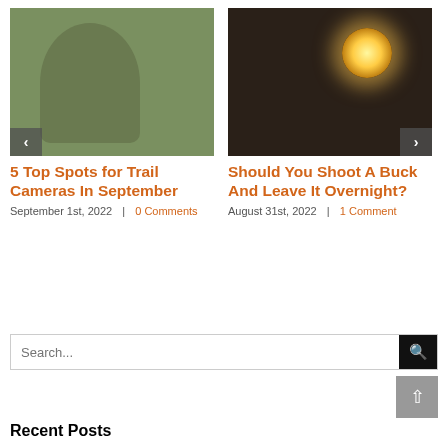[Figure (photo): Man in outdoor setting holding a trail camera against a tree]
5 Top Spots for Trail Cameras In September
September 1st, 2022  |  0 Comments
[Figure (photo): Older man in camouflage gear illuminated by a lantern light indoors]
Should You Shoot A Buck And Leave It Overnight?
August 31st, 2022  |  1 Comment
Search...
Recent Posts